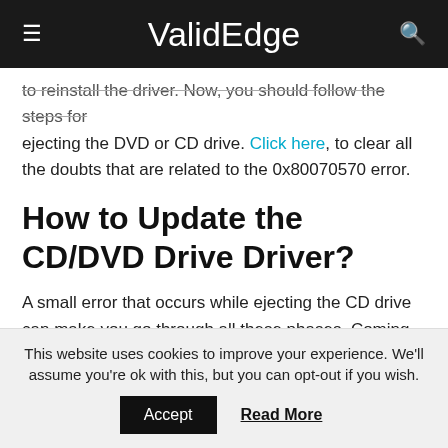ValidEdge
to reinstall the driver. Now, you should follow the steps for ejecting the DVD or CD drive. Click here, to clear all the doubts that are related to the 0x80070570 error.
How to Update the CD/DVD Drive Driver?
A small error that occurs while ejecting the CD drive can make you go through all these phases. Coming to this step means that all previous processes have failed. Even after the reinstallation process, if you cannot eject the drive, then it
This website uses cookies to improve your experience. We'll assume you're ok with this, but you can opt-out if you wish. Accept Read More